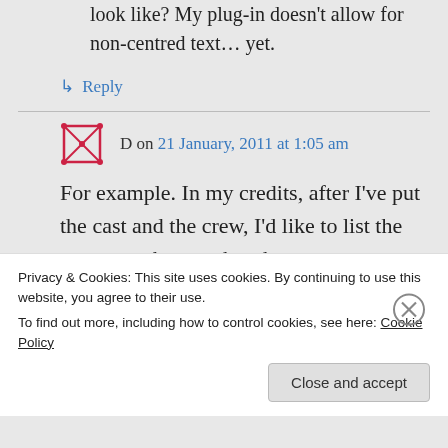look like? My plug-in doesn't allow for non-centred text… yet.
↳ Reply
D on 21 January, 2011 at 1:05 am
For example. In my credits, after I've put the cast and the crew, I'd like to list the songs one by one, but the necessary information to credit
Privacy & Cookies: This site uses cookies. By continuing to use this website, you agree to their use.
To find out more, including how to control cookies, see here: Cookie Policy